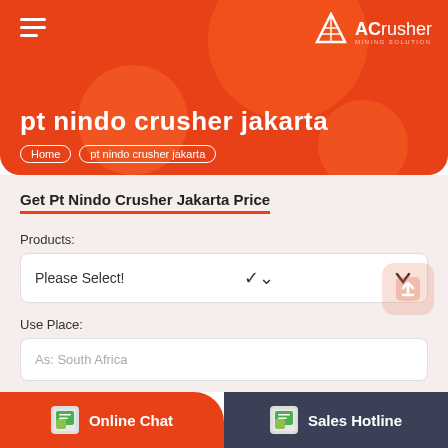ACrusher Mining Solution
pt nindo crusher jakarta
Home / pt nindo crusher jakarta
Get Pt Nindo Crusher Jakarta Price
Products:
Please Select!
Use Place:
As: South Africa
Name:*
As: Mario
Online Chat
Sales Hotline